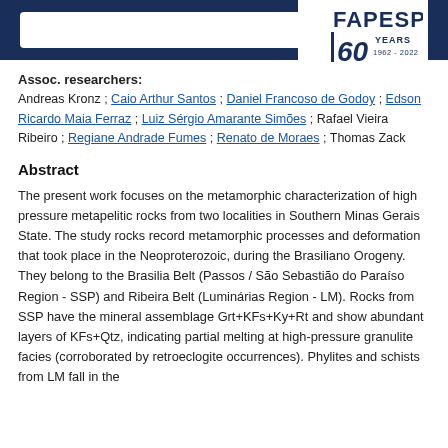[Figure (logo): FAPESP 60 Years 1962-2022 logo]
Search bar and menu navigation header
Assoc. researchers: Andreas Kronz ; Caio Arthur Santos ; Daniel Francoso de Godoy ; Edson Ricardo Maia Ferraz ; Luiz Sérgio Amarante Simões ; Rafael Vieira Ribeiro ; Regiane Andrade Fumes ; Renato de Moraes ; Thomas Zack
Abstract
The present work focuses on the metamorphic characterization of high pressure metapelitic rocks from two localities in Southern Minas Gerais State. The study rocks record metamorphic processes and deformation that took place in the Neoproterozoic, during the Brasiliano Orogeny. They belong to the Brasilia Belt (Passos / São Sebastião do Paraíso Region - SSP) and Ribeira Belt (Luminárias Region - LM). Rocks from SSP have the mineral assemblage Grt+KFs+Ky+Rt and show abundant layers of KFs+Qtz, indicating partial melting at high-pressure granulite facies (corroborated by retroeclogite occurrences). Phylites and schists from LM fall in the